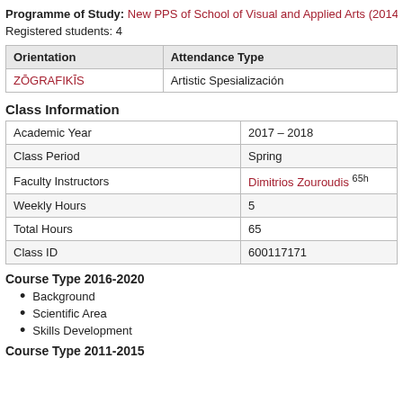Programme of Study: New PPS of School of Visual and Applied Arts (2014-
Registered students: 4
| Orientation | Attendance Type |
| --- | --- |
| ZŌGRAFIKĪS | Artistic Spesialización |
Class Information
| Academic Year | 2017 – 2018 |
| Class Period | Spring |
| Faculty Instructors | Dimitrios Zouroudis 65h |
| Weekly Hours | 5 |
| Total Hours | 65 |
| Class ID | 600117171 |
Course Type 2016-2020
Background
Scientific Area
Skills Development
Course Type 2011-2015